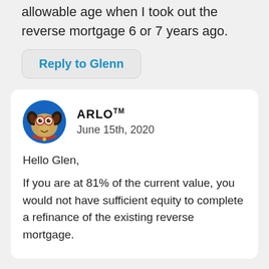allowable age when I took out the reverse mortgage 6 or 7 years ago.
Reply to Glenn
[Figure (illustration): Cartoon dog mascot avatar with blue circular background, wearing glasses and a red collar, representing ARLO brand]
ARLO™
June 15th, 2020
Hello Glen,
If you are at 81% of the current value, you would not have sufficient equity to complete a refinance of the existing reverse mortgage.